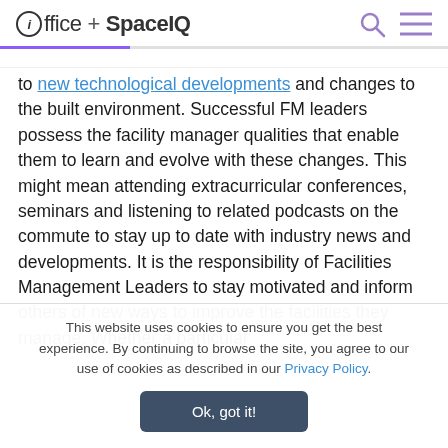office + SpaceIQ
to new technological developments and changes to the built environment. Successful FM leaders possess the facility manager qualities that enable them to learn and evolve with these changes. This might mean attending extracurricular conferences, seminars and listening to related podcasts on the commute to stay up to date with industry news and developments. It is the responsibility of Facilities Management Leaders to stay motivated and inform others of new ways to improve the facilities they manage. Whether a particular
This website uses cookies to ensure you get the best experience. By continuing to browse the site, you agree to our use of cookies as described in our Privacy Policy.
Ok, got it!